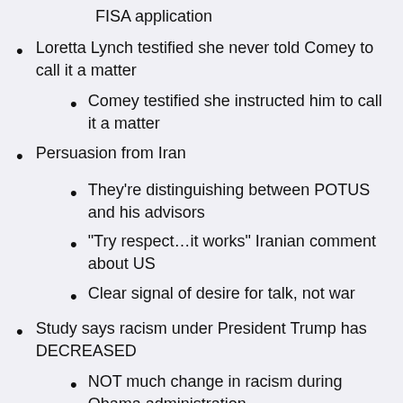FISA application
Loretta Lynch testified she never told Comey to call it a matter
Comey testified she instructed him to call it a matter
Persuasion from Iran
They're distinguishing between POTUS and his advisors
“Try respect…it works” Iranian comment about US
Clear signal of desire for talk, not war
Study says racism under President Trump has DECREASED
NOT much change in racism during Obama administration